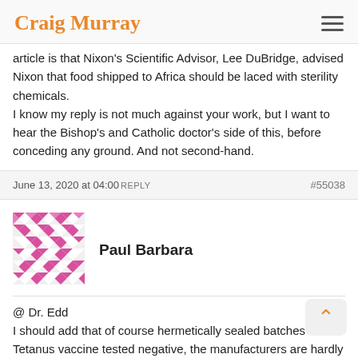Craig Murray
article is that Nixon's Scientific Advisor, Lee DuBridge, advised Nixon that food shipped to Africa should be laced with sterility chemicals.
I know my reply is not much against your work, but I want to hear the Bishop's and Catholic doctor's side of this, before conceding any ground. And not second-hand.
June 13, 2020 at 04:00 REPLY #55038
[Figure (illustration): Avatar image for user Paul Barbara - a geometric mosaic pattern in pink/magenta and white diamond shapes]
Paul Barbara
@ Dr. Edd
I should add that of course hermetically sealed batches of Tetanus vaccine tested negative, the manufacturers are hardly going to supply laced vaccines for testing, are they?
And interestingly, in one of your links, it said how the vaccines